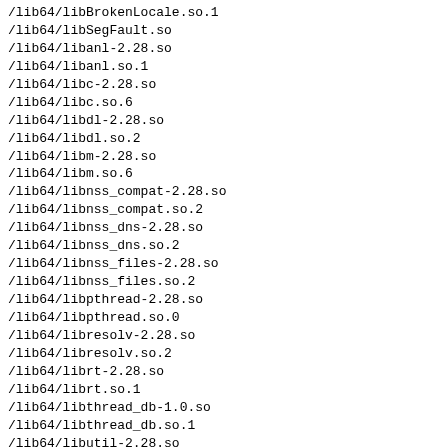/lib64/libBrokenLocale.so.1
/lib64/libSegFault.so
/lib64/libanl-2.28.so
/lib64/libanl.so.1
/lib64/libc-2.28.so
/lib64/libc.so.6
/lib64/libdl-2.28.so
/lib64/libdl.so.2
/lib64/libm-2.28.so
/lib64/libm.so.6
/lib64/libnss_compat-2.28.so
/lib64/libnss_compat.so.2
/lib64/libnss_dns-2.28.so
/lib64/libnss_dns.so.2
/lib64/libnss_files-2.28.so
/lib64/libnss_files.so.2
/lib64/libpthread-2.28.so
/lib64/libpthread.so.0
/lib64/libresolv-2.28.so
/lib64/libresolv.so.2
/lib64/librt-2.28.so
/lib64/librt.so.1
/lib64/libthread_db-1.0.so
/lib64/libthread_db.so.1
/lib64/libutil-2.28.so
/lib64/libutil.so.1
/sbin/ldconfig
/usr/lib/.build-id
/usr/lib/.build-id/00
/usr/lib/.build-id/00/2d54ded859c94f4dff485b817022dd73d7f
/usr/lib/.build-id/00/...